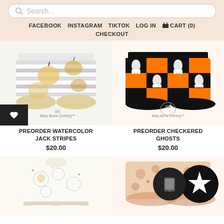Search... | FACEBOOK | INSTAGRAM | TIKTOK | LOG IN | CART (0) | CHECKOUT
[Figure (illustration): Baby bloomers/underwear with gray and white stripes and watercolor jack-o-lantern print, Baby Buns Clothing logo]
PREORDER WATERCOLOR JACK STRIPES
$20.00
[Figure (illustration): Baby bloomers/underwear with orange and black checkered pattern with white ghost print, Baby Buns Clothing logo]
PREORDER CHECKERED GHOSTS
$20.00
[Figure (illustration): Baby outfit/onesie with Halloween/space theme print featuring faces and moons]
[Figure (illustration): Baby bloomers with floral/abstract print and star badge icon overlay]